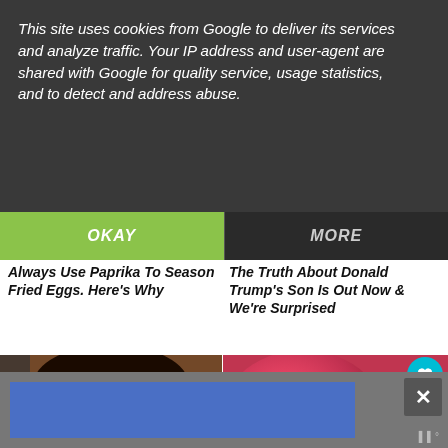This site uses cookies from Google to deliver its services and analyze traffic. Your IP address and user-agent are shared with Google for quality service, usage statistics, and to detect and address abuse.
OKAY
MORE
Always Use Paprika To Season Fried Eggs. Here's Why
The Truth About Donald Trump's Son Is Out Now & We're Surprised
[Figure (photo): Photo of Emeril Lagasse, a man with dark hair]
[Figure (photo): Close-up photo of raw red meat]
Emeril Lagasse Basically
Ever Wonder Why Aldi's
WHAT'S NEXT → Tomato and Cucumber...
[Figure (photo): Advertisement banner with blue background]